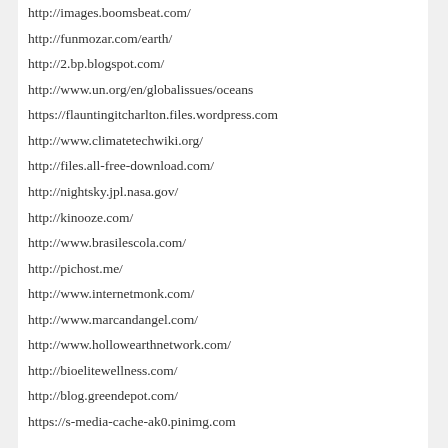http://images.boomsbeat.com/
http://funmozar.com/earth/
http://2.bp.blogspot.com/
http://www.un.org/en/globalissues/oceans
https://flauntingitcharlton.files.wordpress.com
http://www.climatetechwiki.org/
http://files.all-free-download.com/
http://nightsky.jpl.nasa.gov/
http://kinooze.com/
http://www.brasilescola.com/
http://pichost.me/
http://www.internetmonk.com/
http://www.marcandangel.com/
http://www.hollowearthnetwork.com/
http://bioelitewellness.com/
http://blog.greendepot.com/
https://s-media-cache-ak0.pinimg.com
Posted in audiobooks and videos | Tagged bible, bible stories, bible stories in video, christian, God, in the beginning, the creation | Leave a reply